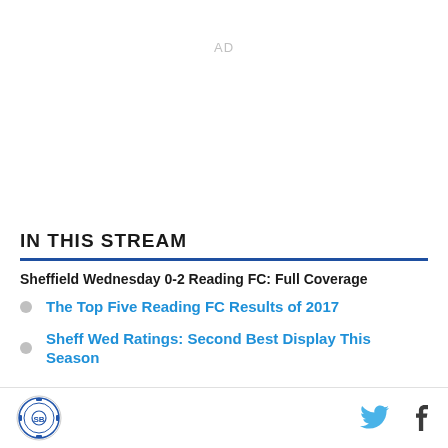AD
IN THIS STREAM
Sheffield Wednesday 0-2 Reading FC: Full Coverage
The Top Five Reading FC Results of 2017
Sheff Wed Ratings: Second Best Display This Season
Logo | Twitter | Facebook